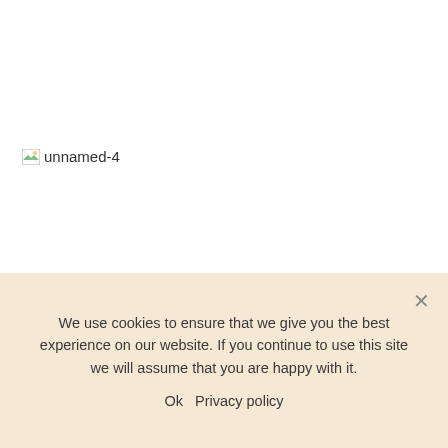[Figure (illustration): Broken image placeholder with alt text 'unnamed-4']
We use cookies to ensure that we give you the best experience on our website. If you continue to use this site we will assume that you are happy with it.
Ok   Privacy policy